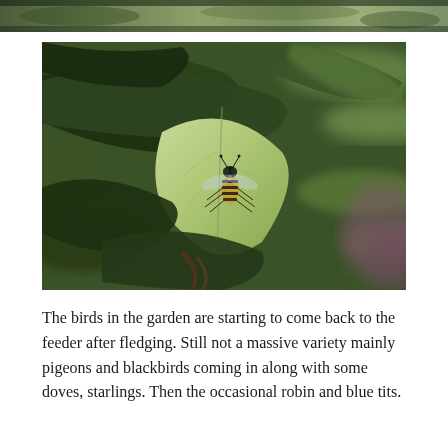[Figure (photo): Partial top strip of a photo — cropped dark/blurred foliage image at the very top of the page]
[Figure (photo): Close-up nature photograph of a hoverfly (striped black and yellow insect) resting on a pale green leaf, surrounded by dark green glossy leaves of a garden shrub. Background is blurred with greens and purples.]
The birds in the garden are starting to come back to the feeder after fledging. Still not a massive variety mainly pigeons and blackbirds coming in along with some doves, starlings. Then the occasional robin and blue tits.